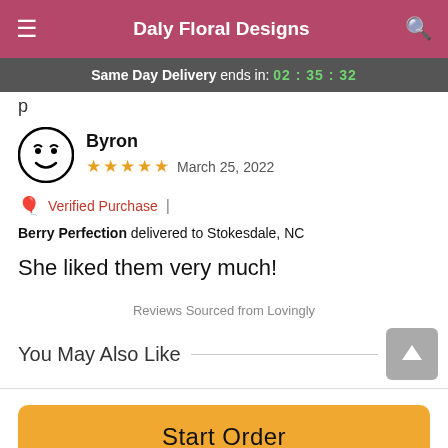Daly Floral Designs
Same Day Delivery ends in: 02 : 35 : 32
Byron
★★★★★  March 25, 2022
🎀 Verified Purchase | Berry Perfection delivered to Stokesdale, NC
She liked them very much!
Reviews Sourced from Lovingly
You May Also Like
Start Order